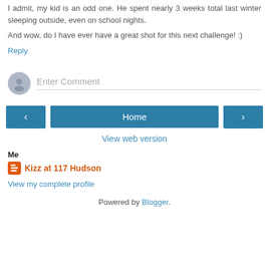I admit, my kid is an odd one. He spent nearly 3 weeks total last winter sleeping outside, even on school nights.
And wow, do I have ever have a great shot for this next challenge! :)
Reply
[Figure (illustration): Comment input area with avatar icon and 'Enter Comment' placeholder text with underline]
[Figure (infographic): Navigation bar with left arrow button, Home button, and right arrow button]
View web version
Me
Kizz at 117 Hudson
View my complete profile
Powered by Blogger.